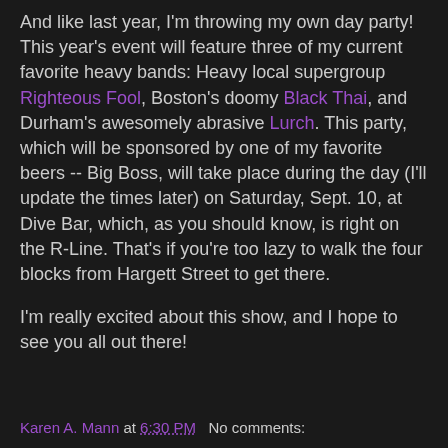And like last year, I'm throwing my own day party! This year's event will feature three of my current favorite heavy bands: Heavy local supergroup Righteous Fool, Boston's doomy Black Thai, and Durham's awesomely abrasive Lurch. This party, which will be sponsored by one of my favorite beers -- Big Boss, will take place during the day (I'll update the times later) on Saturday, Sept. 10, at Dive Bar, which, as you should know, is right on the R-Line. That's if you're too lazy to walk the four blocks from Hargett Street to get there.
I'm really excited about this show, and I hope to see you all out there!
Karen A. Mann at 6:30 PM   No comments: